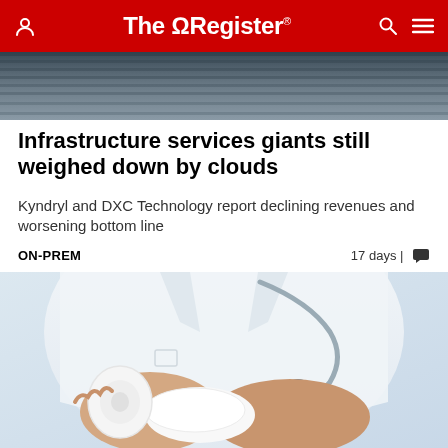The Register
[Figure (photo): Partial photo of server room or IT infrastructure at top of page, cropped strip]
Infrastructure services giants still weighed down by clouds
Kyndryl and DXC Technology report declining revenues and worsening bottom line
ON-PREM   17 days | [comment icon]
[Figure (photo): Doctor or medical professional in white coat with stethoscope wrapping a bandage around a patient's wrist/arm]